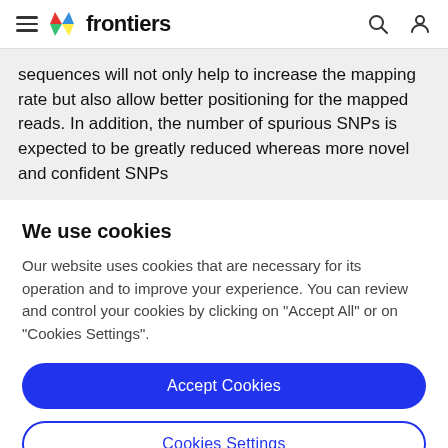frontiers
sequences will not only help to increase the mapping rate but also allow better positioning for the mapped reads. In addition, the number of spurious SNPs is expected to be greatly reduced whereas more novel and confident SNPs
We use cookies
Our website uses cookies that are necessary for its operation and to improve your experience. You can review and control your cookies by clicking on "Accept All" or on "Cookies Settings".
Accept Cookies
Cookies Settings